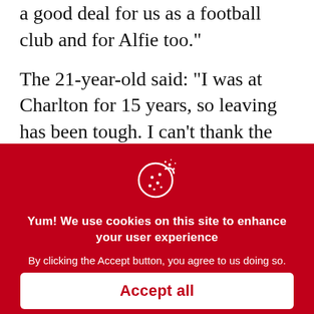a good deal for us as a football club and for Alfie too."
The 21-year-old said: "I was at Charlton for 15 years, so leaving has been tough. I can't thank the club enough, coming through the academy. I'd like to thank Bow as well for giving me the opportunity. It's
[Figure (illustration): Cookie icon: a cookie with bite taken out and dots/crumbs, white on red background]
Yum! We use cookies on this site to enhance your user experience
By clicking the Accept button, you agree to us doing so.
Accept all